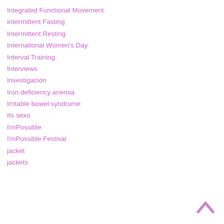Integrated Functional Movement
Intermittent Fasting
Intermittent Resting
International Women's Day
Interval Training
Interviews
Investigación
Iron deficiency anemia
Irritable bowel syndrome
Its sexo
I'mPossible
I'mPossible Festival
jacket
jackets
[Figure (illustration): A pink/mauve upward-pointing chevron arrow (scroll-to-top button) in the bottom-right corner]